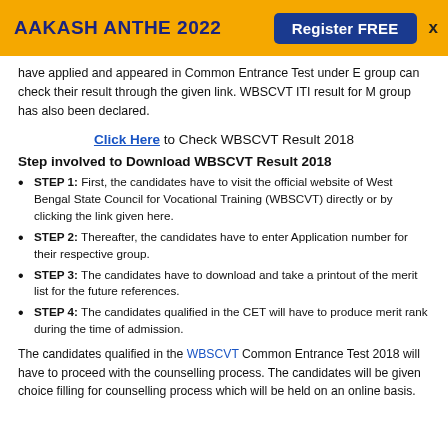AAKASH ANTHE 2022   Register FREE   X
have applied and appeared in Common Entrance Test under E group can check their result through the given link. WBSCVT ITI result for M group has also been declared.
Click Here to Check WBSCVT Result 2018
Step involved to Download WBSCVT Result 2018
STEP 1: First, the candidates have to visit the official website of West Bengal State Council for Vocational Training (WBSCVT) directly or by clicking the link given here.
STEP 2: Thereafter, the candidates have to enter Application number for their respective group.
STEP 3: The candidates have to download and take a printout of the merit list for the future references.
STEP 4: The candidates qualified in the CET will have to produce merit rank during the time of admission.
The candidates qualified in the WBSCVT Common Entrance Test 2018 will have to proceed with the counselling process. The candidates will be given choice filling for counselling process which will be held on an online basis.